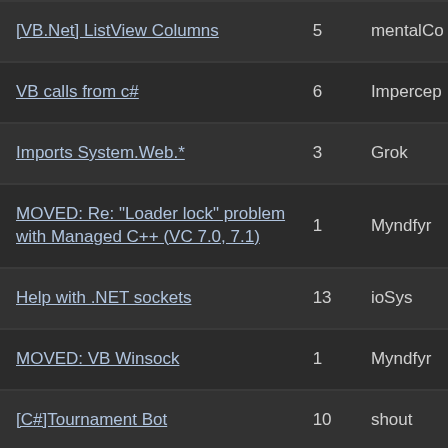| Topic | Replies | Last poster |
| --- | --- | --- |
| [VB.Net] ListView Columns | 5 | mentalCo |
| VB calls from c# | 6 | Impercep |
| Imports System.Web.* | 3 | Grok |
| MOVED: Re: "Loader lock" problem with Managed C++ (VC 7.0, 7.1) | 1 | Myndfyr |
| Help with .NET sockets | 13 | ioSys |
| MOVED: VB Winsock | 1 | Myndfyr |
| [C#]Tournament Bot | 10 | shout |
| Reference to a non-shared member requires an object reference | 3 | CrAz3D |